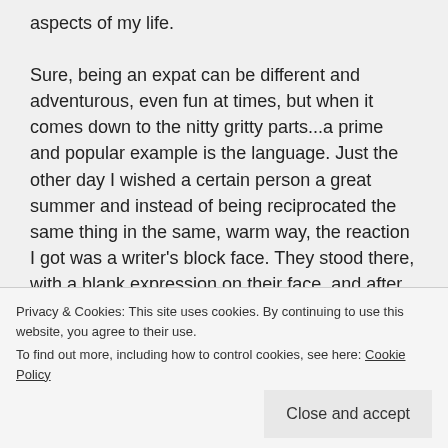aspects of my life.

Sure, being an expat can be different and adventurous, even fun at times, but when it comes down to the nitty gritty parts...a prime and popular example is the language. Just the other day I wished a certain person a great summer and instead of being reciprocated the same thing in the same, warm way, the reaction I got was a writer's block face. They stood there, with a blank expression on their face, and after what seemed like two minutes, they replied “you too”, but they had rephrased what I said every so
Privacy & Cookies: This site uses cookies. By continuing to use this website, you agree to their use.
To find out more, including how to control cookies, see here: Cookie Policy
Close and accept
telling them that they need to open their mind a little (a bit) more, and redirect their energy towards...